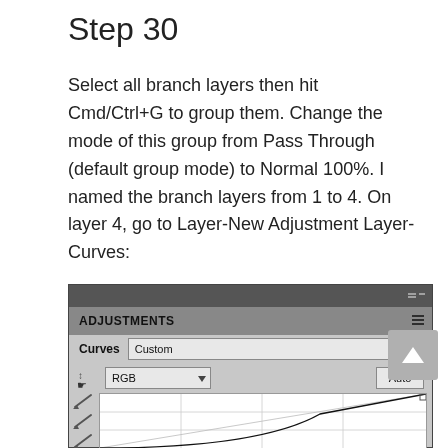Step 30
Select all branch layers then hit Cmd/Ctrl+G to group them. Change the mode of this group from Pass Through (default group mode) to Normal 100%. I named the branch layers from 1 to 4. On layer 4, go to Layer-New Adjustment Layer-Curves:
[Figure (screenshot): Photoshop Adjustments panel showing Curves adjustment with Custom preset selected, RGB channel dropdown, Auto button, and a curves graph with a diagonal curve line.]